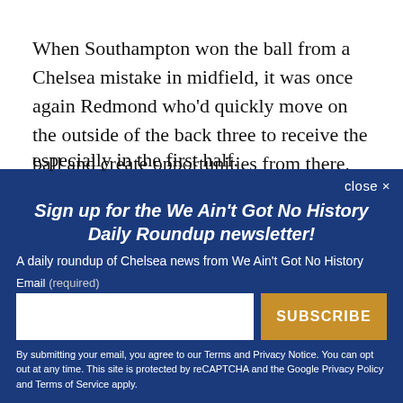When Southampton won the ball from a Chelsea mistake in midfield, it was once again Redmond who'd quickly move on the outside of the back three to receive the ball and create opportunities from there, especially in the first half.
close ×
Sign up for the We Ain't Got No History Daily Roundup newsletter!
A daily roundup of Chelsea news from We Ain't Got No History
Email (required)
SUBSCRIBE
By submitting your email, you agree to our Terms and Privacy Notice. You can opt out at any time. This site is protected by reCAPTCHA and the Google Privacy Policy and Terms of Service apply.